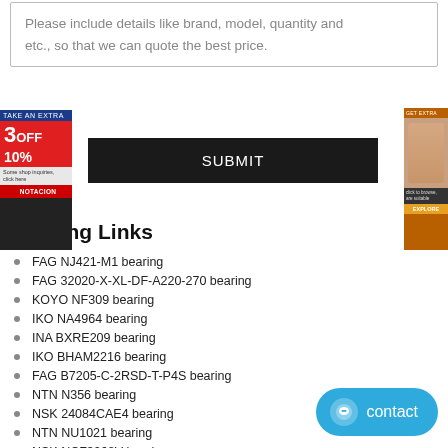Please include details like brand, model, quantity and etc., so that we can quote the best price.
[Figure (other): Advertisement banner on the left: Take an extra 3 OFF 10% with red background and blue header, with a red button at bottom.]
[Figure (other): Advertisement banner on the right: orange background with a photo of a woman and text overlay with a yellow button.]
SUBMIT
Bearing Links
FAG NJ421-M1 bearing
FAG 32020-X-XL-DF-A220-270 bearing
KOYO NF309 bearing
IKO NA4964 bearing
INA BXRE209 bearing
IKO BHAM2216 bearing
FAG B7205-C-2RSD-T-P4S bearing
NTN N356 bearing
NSK 24084CAE4 bearing
NTN NU1021 bearing
NSK NCF3068V bearing
NTN 24032CK30 bearing
[Figure (other): Blue contact button with chat icon and the word 'contact']